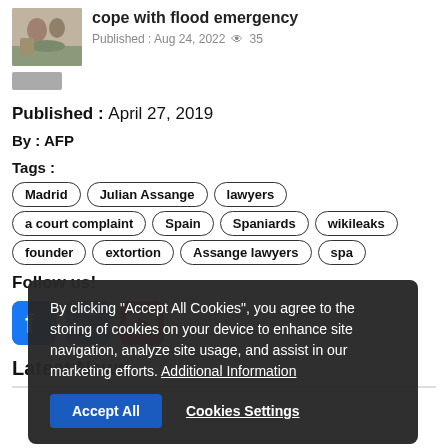[Figure (photo): Thumbnail image of people in flood water situation]
cope with flood emergency
Published : Aug 24, 2022  35
Published : April 27, 2019
By : AFP
Tags :   Madrid   Julian Assange   lawyers   a court complaint   Spain   Spaniards   wikileaks   founder   extortion   Assange lawyers   spa
[Figure (screenshot): Cookie consent overlay: By clicking Accept All Cookies you agree to the storing of cookies on your device to enhance site navigation, analyze site usage, and assist in our marketing efforts. Additional Information. Accept All button. Cookies Settings button.]
Follow us!
[Figure (logo): Facebook, Twitter, YouTube social media icons]
Latest News